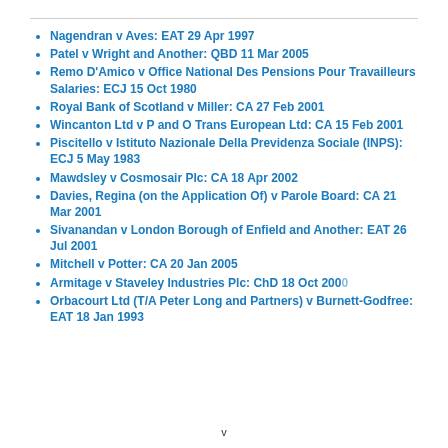Nagendran v Aves: EAT 29 Apr 1997
Patel v Wright and Another: QBD 11 Mar 2005
Remo D'Amico v Office National Des Pensions Pour Travailleurs Salaries: ECJ 15 Oct 1980
Royal Bank of Scotland v Miller: CA 27 Feb 2001
Wincanton Ltd v P and O Trans European Ltd: CA 15 Feb 2001
Piscitello v Istituto Nazionale Della Previdenza Sociale (INPS): ECJ 5 May 1983
Mawdsley v Cosmosair Plc: CA 18 Apr 2002
Davies, Regina (on the Application Of) v Parole Board: CA 21 Mar 2001
Sivanandan v London Borough of Enfield and Another: EAT 26 Jul 2001
Mitchell v Potter: CA 20 Jan 2005
Armitage v Staveley Industries Plc: ChD 18 Oct 200[obscured]
Orbacourt Ltd (T/A Peter Long and Partners) v Burnett-Godfree: EAT 18 Jan 1993
v